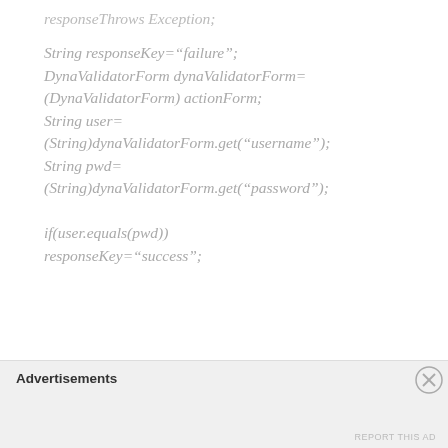responseThrows Exception;
String responseKey="failure";
DynaValidatorForm dynaValidatorForm=
(DynaValidatorForm) actionForm;
String user=
(String)dynaValidatorForm.get("username");
String pwd=
(String)dynaValidatorForm.get("password");

if(user.equals(pwd))
responseKey="success";
Advertisements